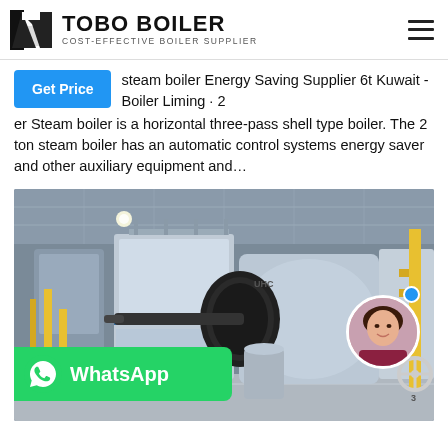TOBO BOILER — COST-EFFECTIVE BOILER SUPPLIER
steam boiler Energy Saving Supplier 6t Kuwait -Boiler Liming · 2 ton Steam boiler is a horizontal three-pass shell type boiler. The 2 ton steam boiler has an automatic control systems energy saver and other auxiliary equipment and…
[Figure (photo): Industrial boiler room with multiple large gas-fired steam boilers in a facility, yellow piping visible, concrete floor. WhatsApp contact button overlay at bottom left. Female customer service avatar at bottom right.]